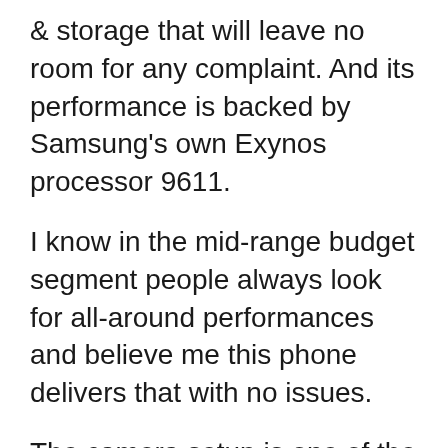& storage that will leave no room for any complaint. And its performance is backed by Samsung's own Exynos processor 9611.
I know in the mid-range budget segment people always look for all-around performances and believe me this phone delivers that with no issues.
The camera setup is one of the best, if not the best under 15k in India right.
64MP Main Camera with an 8MP Ultra Wide Camera that is supported by 5MP Depth Camera & 5MP Macro Camera ANd the front facing camera is 32MP.